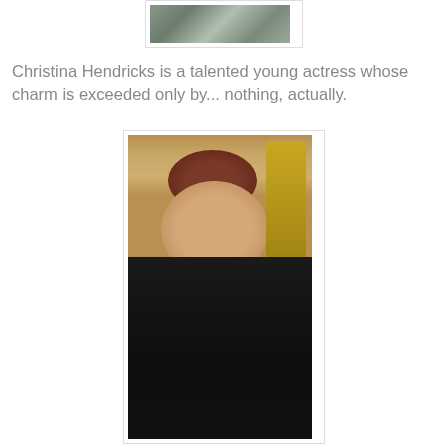[Figure (photo): Partial photo at top of page showing camouflage military fabric pattern]
Christina Hendricks is a talented young actress whose charm is exceeded only by... nothing, actually.
[Figure (photo): Photo of a woman with red hair in a black off-shoulder dress holding a glass, with a Johnnie Walker whisky bottle visible in the background]